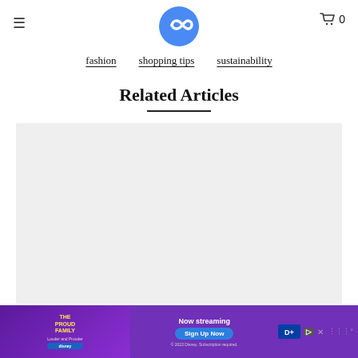≡   [logo]   🛒 0
fashion   shopping tips   sustainability
Related Articles
[Figure (other): Gray placeholder rectangle representing an article card image]
[Figure (other): Disney+ advertisement banner for The Proud Family showing 'Now streaming' and 'Sign Up Now' button]